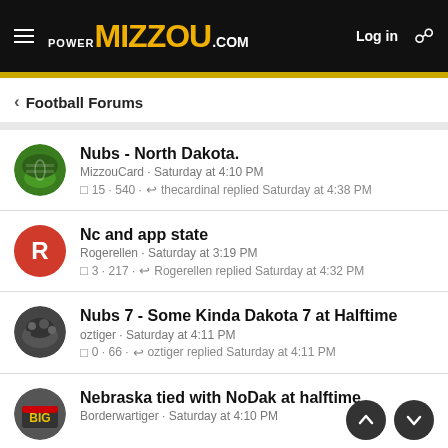PowerMIZZOU.COM — Log in
< Football Forums
Nubs - North Dakota.
MizzouCard · Saturday at 4:10 PM
💬 15 · 540 · ↩ thecardinal replied Saturday at 4:38 PM
Nc and app state
Rogerellen · Saturday at 3:19 PM
💬 3 · 217 · ↩ Rogerellen replied Saturday at 4:32 PM
Nubs 7 - Some Kinda Dakota 7 at Halftime
oztiger · Saturday at 4:11 PM
💬 0 · 66 · ↩ oztiger replied Saturday at 4:11 PM
Nebraska tied with NoDak at halftime
Borderwartiger · Saturday at 4:10 PM